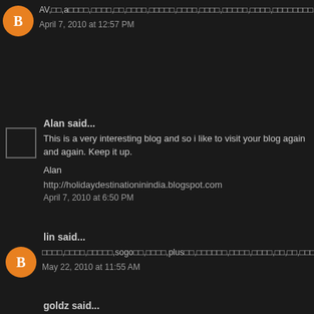AV,oo,aooo,ooo,oo,ooo,ooooo,oooo,oooo,ooooo,oooo,oooooooo,oooo,oooo,oooo,ooooo o,ao,Ao,ho,ooooo,ooooo,AVoo,SEX,ooooo,85ccooo,ooo,utooo,ooooo,ooo,ooooo,a o,ooooo,aioooooo,oooo,oooo,oooo,oo,Aooo,ooooooo,oooo,oooo,oooo,oooo,oooo,ooooo,o
April 7, 2010 at 12:57 PM
Alan said...
This is a very interesting blog and so i like to visit your blog again and again. Keep it up.
Alan
http://holidaydestinationinindia.blogspot.com
April 7, 2010 at 6:50 PM
lin said...
oooo,oooo,ooooo,sogooo,oooo,plusoo,ooooo,oooo,oooo,oo,oo,ooo,oooo,kkooo,oooo, ooooo,oooout,oooo,ooooooo,oooo,oooo,ooao,ooo,oooo,oooo,oo,ooING,ooooooo,oooo,oooo, oooo,85cc,oooo,oooo,oooo,ooao,oo,ooooo,avdvd,oooo,oooo,oo,oo,oooo,oooo,85cc o,oo
May 22, 2010 at 11:55 AM
goldz said...